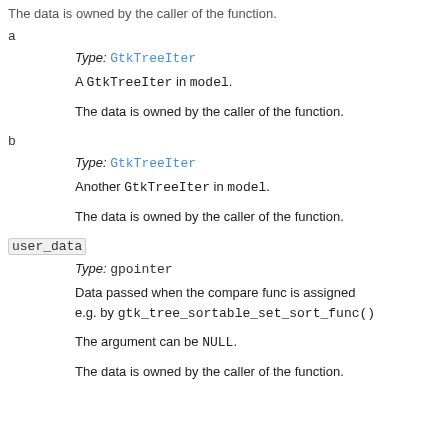The data is owned by the caller of the function.
a
Type: GtkTreeIter
A GtkTreeIter in model.
The data is owned by the caller of the function.
b
Type: GtkTreeIter
Another GtkTreeIter in model.
The data is owned by the caller of the function.
user_data
Type: gpointer
Data passed when the compare func is assigned e.g. by gtk_tree_sortable_set_sort_func()
The argument can be NULL.
The data is owned by the caller of the function.